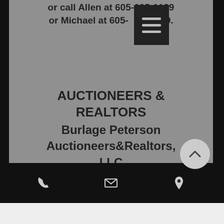or call Allen at 605-695-1139 or Michael at 605-[...]-9579.
[Figure (screenshot): Hamburger menu icon (three horizontal lines) on dark background, shown as a mobile navigation UI element]
AUCTIONEERS & REALTORS
Burlage Peterson Auctioneers&Realtors, LLC
Jim & Scott Peterson, Lenny & Tyler Burlage
317 4th St, Brookings, SD  605-692-7102
www.bUrlagepeterson.c
[Figure (other): Scroll-to-top circular button with upward chevron arrow]
[Figure (other): Mobile bottom navigation bar with phone, email, and location pin icons on black background]